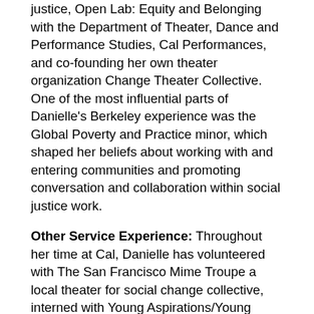justice, Open Lab: Equity and Belonging with the Department of Theater, Dance and Performance Studies, Cal Performances, and co-founding her own theater organization Change Theater Collective. One of the most influential parts of Danielle's Berkeley experience was the Global Poverty and Practice minor, which shaped her beliefs about working with and entering communities and promoting conversation and collaboration within social justice work.
Other Service Experience: Throughout her time at Cal, Danielle has volunteered with The San Francisco Mime Troupe a local theater for social change collective, interned with Young Aspirations/Young Artists Inc. in New Orleans, and in her final year, she rounded her public service experience in the public sector with an internship in the Office of Congresswoman Barbara Lee.
Fellowship Goal: Danielle is excited to fully submerge herself in the world of Art and Civic Engagement, exploring the work that is being done to promote access and equitability within the arts, the ways through which art is being used as a form of changemaking, and more.